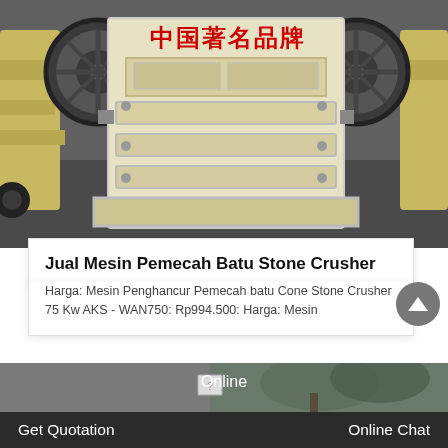[Figure (photo): Stone crusher machine (jaw crusher) in cream/beige color with flywheels on both sides and Chinese text '中国著名品牌' in red on a banner at the top. Machine is photographed in a factory/warehouse setting.]
Jual Mesin Pemecah Batu Stone Crusher
Harga: Mesin Penghancur Pemecah batu Cone Stone Crusher 75 Kw AKS - WAN750: Rp994.500: Harga: Mesin
[Figure (photo): Partial bottom image strip showing outdoor/nature scene, partially obscured by dark footer bar. Small broken image icon visible in center.]
Online
Get Quotation
Online Chat